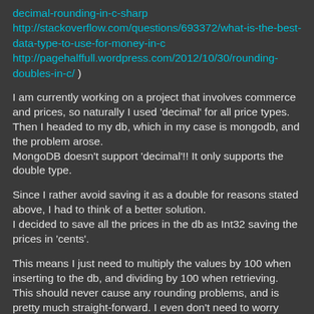decimal-rounding-in-c-sharp
http://stackoverflow.com/questions/693372/what-is-the-best-data-type-to-use-for-money-in-c
http://pagehalffull.wordpress.com/2012/10/30/rounding-doubles-in-c/ )
I am currently working on a project that involves commerce and prices, so naturally I used 'decimal' for all price types. Then I headed to my db, which in my case is mongodb, and the problem arose.
MongoDB doesn't support 'decimal'!! It only supports the double type.
Since I rather avoid saving it as a double for reasons stated above, I had to think of a better solution.
I decided to save all the prices in the db as Int32 saving the prices in 'cents'.
This means I just need to multiply the values by 100 when inserting to the db, and dividing by 100 when retrieving. This should never cause any rounding problems, and is pretty much straight-forward. I even don't need to worry about